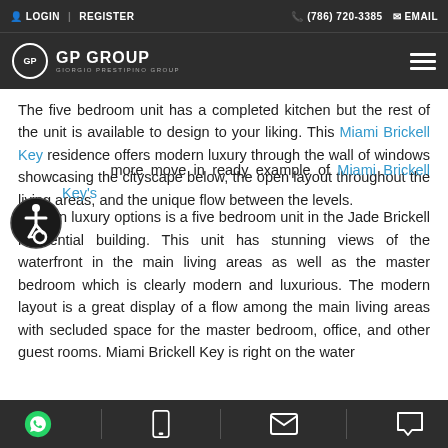LOGIN | REGISTER   (786) 720-3385   EMAIL
[Figure (logo): GP Group - Giorgio Prestipino Group logo with circular emblem on dark background]
The five bedroom unit has a completed kitchen but the rest of the unit is available to design to your liking. This Miami Brickell Key residence offers modern luxury through the wall of windows showcasing the cityscape below, the open layout throughout the living areas, and the unique flow between the levels.
[Figure (illustration): Wheelchair accessibility icon - circular badge with person in wheelchair silhouette]
Another more move in ready example of Miami Brickell Key's modern luxury options is a five bedroom unit in the Jade Brickell residential building. This unit has stunning views of the waterfront in the main living areas as well as the master bedroom which is clearly modern and luxurious. The modern layout is a great display of a flow among the main living areas with secluded space for the master bedroom, office, and other guest rooms. Miami Brickell Key is right on the water
WhatsApp | Mobile | Email | Message icons